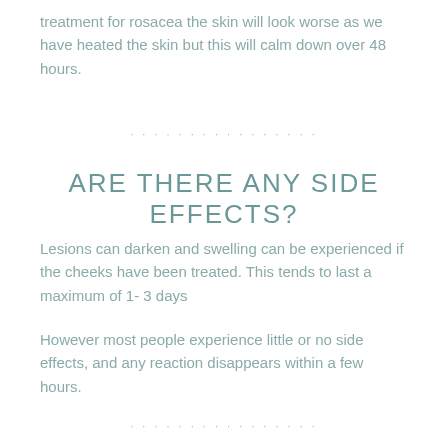treatment for rosacea the skin will look worse as we have heated the skin but this will calm down over 48 hours.
· · · · · · · · · · · · · · · ·
ARE THERE ANY SIDE EFFECTS?
Lesions can darken and swelling can be experienced if the cheeks have been treated. This tends to last a maximum of 1- 3 days
However most people experience little or no side effects, and any reaction disappears within a few hours.
· · · · · · · · · · · · · · · ·